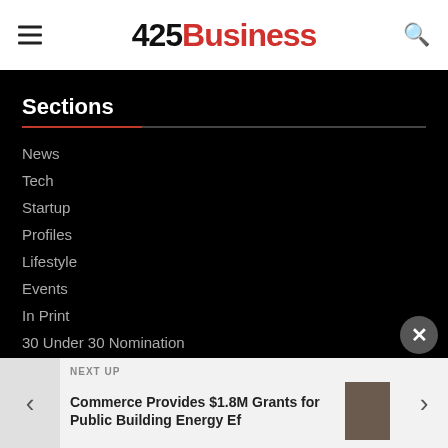425 Business
Sections
News
Tech
Startup
Profiles
Lifestyle
Events
In Print
30 Under 30 Nomination
25 Most Influential
On the Ladder
Multimedia
Services
NEXT UP
Commerce Provides $1.8M Grants for Public Building Energy Ef